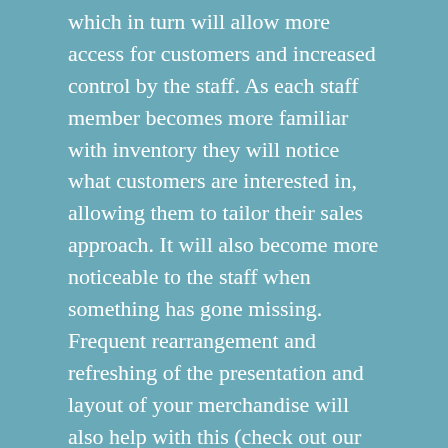which in turn will allow more access for customers and increased control by the staff. As each staff member becomes more familiar with inventory they will notice what customers are interested in, allowing them to tailor their sales approach. It will also become more noticeable to the staff when something has gone missing. Frequent rearrangement and refreshing of the presentation and layout of your merchandise will also help with this (check out our post about Romanticizing Your Space!).
Design and Layout
Lastly, the physical layout of the space can be a